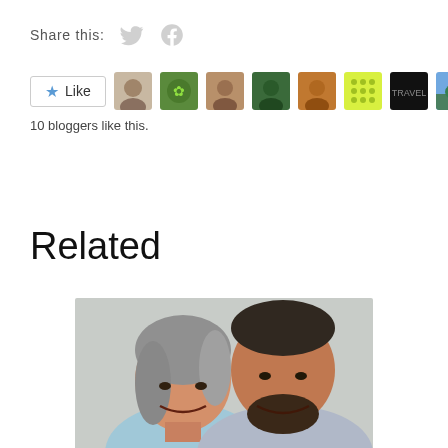Share this:
10 bloggers like this.
Related
[Figure (photo): Portrait photo of a middle-aged Asian woman with gray hair and a man with a beard, both smiling]